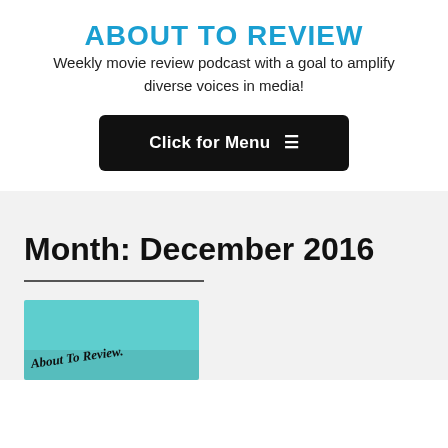ABOUT TO REVIEW
Weekly movie review podcast with a goal to amplify diverse voices in media!
Click for Menu ≡
Month: December 2016
[Figure (illustration): About To Review podcast logo on teal/mint green background with cursive text reading 'About To Review' and a microphone graphic]